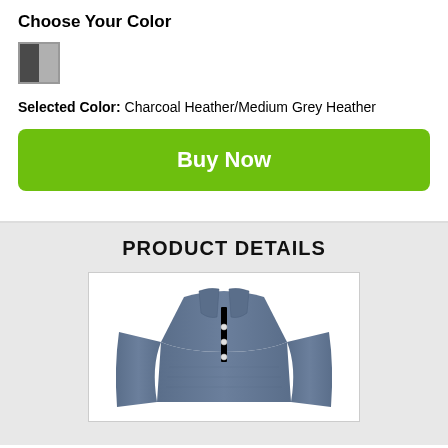Choose Your Color
[Figure (illustration): Color swatch showing two halves: dark charcoal grey on left and medium grey on right]
Selected Color: Charcoal Heather/Medium Grey Heather
Buy Now
PRODUCT DETAILS
[Figure (photo): Photo of a blue/navy heathered long-sleeve polo shirt with a collar and button placket]